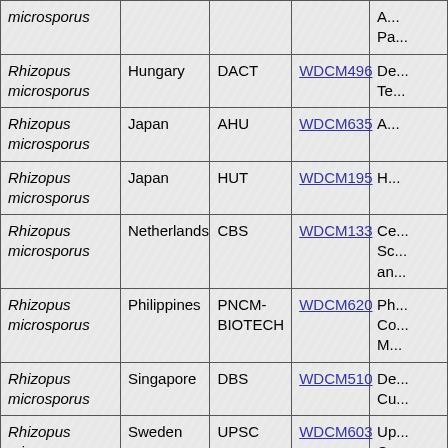| Species | Country | Collection | WDCM | Description |
| --- | --- | --- | --- | --- |
| Rhizopus microsporus |  |  |  | Pa... |
| Rhizopus microsporus | Hungary | DACT | WDCM496 | De... Te... |
| Rhizopus microsporus | Japan | AHU | WDCM635 | A... |
| Rhizopus microsporus | Japan | HUT | WDCM195 | H... |
| Rhizopus microsporus | Netherlands | CBS | WDCM133 | Ce... Sc... an... |
| Rhizopus microsporus | Philippines | PNCM-BIOTECH | WDCM620 | Ph... Co... M... |
| Rhizopus microsporus | Singapore | DBS | WDCM510 | De... Cu... |
| Rhizopus microsporus | Sweden | UPSC | WDCM603 | Up... Cu... Fu... |
| Rhizopus microsporus | Thailand | TISTR | WDCM383 | Th... Ba... |
| Rhizopus microsporus | U.K. | IMI | WDCM214 | Ca... |